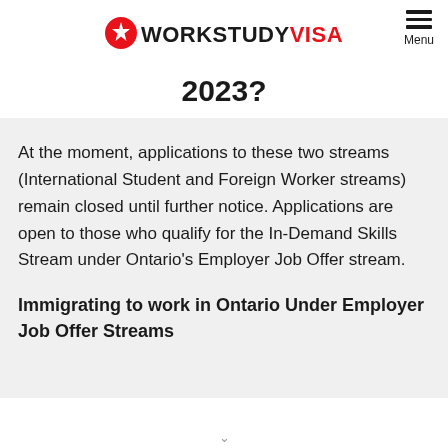WORKSTUDY VISA [Menu]
2023?
At the moment, applications to these two streams (International Student and Foreign Worker streams) remain closed until further notice. Applications are open to those who qualify for the In-Demand Skills Stream under Ontario's Employer Job Offer stream.
Immigrating to work in Ontario Under Employer Job Offer Streams